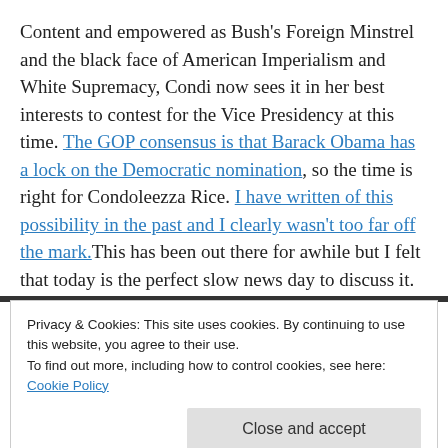Content and empowered as Bush's Foreign Minstrel and the black face of American Imperialism and White Supremacy, Condi now sees it in her best interests to contest for the Vice Presidency at this time. The GOP consensus is that Barack Obama has a lock on the Democratic nomination, so the time is right for Condoleezza Rice. I have written of this possibility in the past and I clearly wasn't too far off the mark. This has been out there for awhile but I felt that today is the perfect slow news day to discuss it. Have at it
Privacy & Cookies: This site uses cookies. By continuing to use this website, you agree to their use.
To find out more, including how to control cookies, see here: Cookie Policy
Close and accept